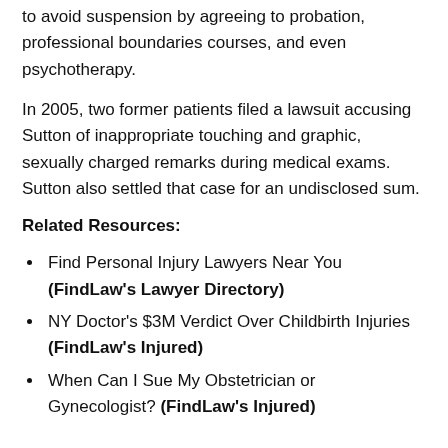to avoid suspension by agreeing to probation, professional boundaries courses, and even psychotherapy.
In 2005, two former patients filed a lawsuit accusing Sutton of inappropriate touching and graphic, sexually charged remarks during medical exams. Sutton also settled that case for an undisclosed sum.
Related Resources:
Find Personal Injury Lawyers Near You (FindLaw's Lawyer Directory)
NY Doctor's $3M Verdict Over Childbirth Injuries (FindLaw's Injured)
When Can I Sue My Obstetrician or Gynecologist? (FindLaw's Injured)